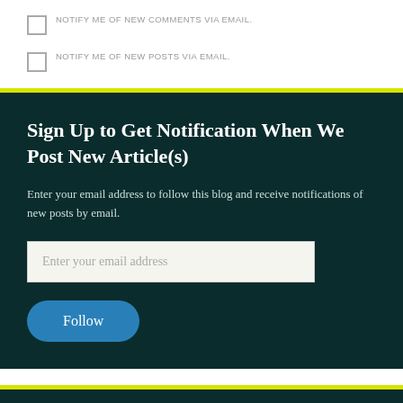NOTIFY ME OF NEW COMMENTS VIA EMAIL.
NOTIFY ME OF NEW POSTS VIA EMAIL.
Sign Up to Get Notification When We Post New Article(s)
Enter your email address to follow this blog and receive notifications of new posts by email.